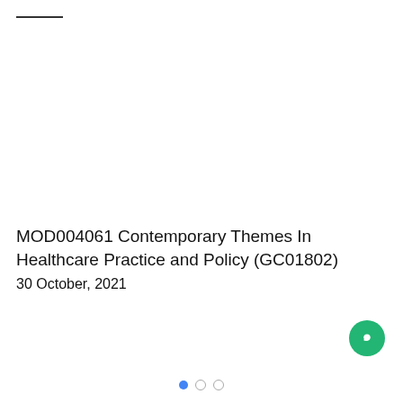—
MOD004061 Contemporary Themes In Healthcare Practice and Policy (GC01802)
30 October, 2021